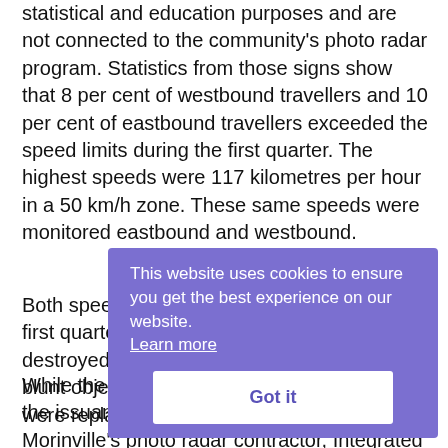statistical and education purposes and are not connected to the community's photo radar program. Statistics from those signs show that 8 per cent of westbound travellers and 10 per cent of eastbound travellers exceeded the speed limits during the first quarter. The highest speeds were 117 kilometres per hour in a 50 km/h zone. These same speeds were monitored eastbound and westbound.
Both speed signs were vandalized during the first quarter. One sign was cut off the post and destroyed when it was struck by a vehicle. A blunt object destroyed the other. Both signs were replaced at the vandal's expense.
While the speed signs are not connected with the issuance of photo radar tickets, Morinville's photo radar contractor, Integrated Traffic Services, was busy in other parts of town issuing tickets. The first
[Figure (other): Cookie consent overlay with purple background. Text reads 'This website uses cookies to ensure you get the best experience on our website.' with a 'Learn more' link and a white 'Got it' button.]